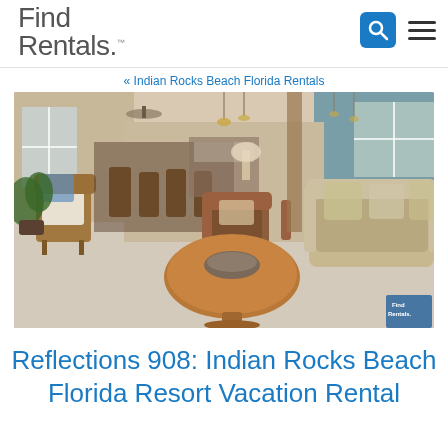Find Rentals.
« Indian Rocks Beach Florida Rentals
[Figure (photo): Interior photo of a vacation rental living room with wicker chairs, a leather armchair, a beige sofa, a round wooden coffee table with a decorative bowl, and a view into the dining area and kitchen in the background.]
Reflections 908: Indian Rocks Beach Florida Resort Vacation Rental